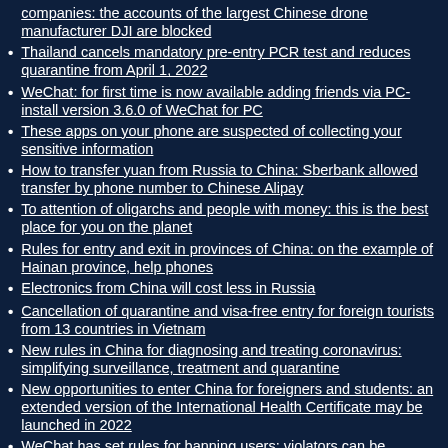companies: the accounts of the largest Chinese drone manufacturer DJI are blocked
Thailand cancels mandatory pre-entry PCR test and reduces quarantine from April 1, 2022
WeChat: for first time is now available adding friends via PC- install version 3.6.0 of WeChat for PC
These apps on your phone are suspected of collecting your sensitive information
How to transfer yuan from Russia to China: Sberbank allowed transfer by phone number to Chinese Alipay
To attention of oligarchs and people with money: this is the best place for you on the planet
Rules for entry and exit in provinces of China: on the example of Hainan province, help phones
Electronics from China will cost less in Russia
Cancellation of quarantine and visa-free entry for foreign tourists from 13 countries in Vietnam
New rules in China for diagnosing and treating coronavirus: simplifying surveillance, treatment and quarantine
New opportunities to enter China for foreigners and students: an extended version of the International Health Certificate may be launched in 2022
WeChat has set rules for banning users: violators can be permanently banned
All payment methods for Apple services: using the MIR